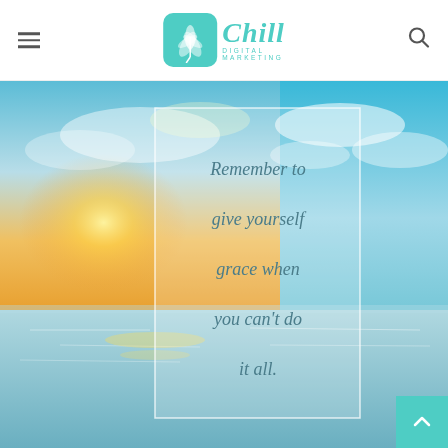Chill Digital Marketing — navigation header
[Figure (photo): Beach sunset photo with a semi-transparent white-bordered quote overlay box containing the text 'Remember to give yourself grace when you can't do it all.' overlaid on a scenic ocean/sky background with warm golden and teal tones.]